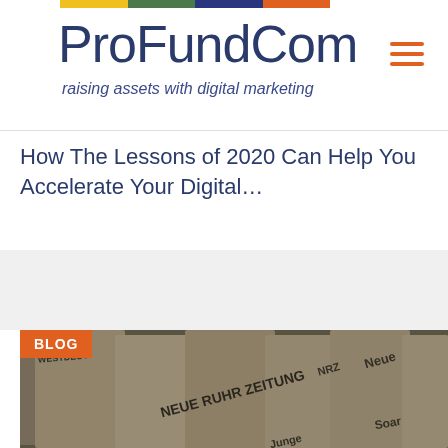ProFundCom — raising assets with digital marketing
How The Lessons of 2020 Can Help You Accelerate Your Digital…
[Figure (photo): Photo of newspapers in a rack showing German newspaper titles including Neue Ruhr Zeitung, with a BLOG label overlay in orange]
BLOG